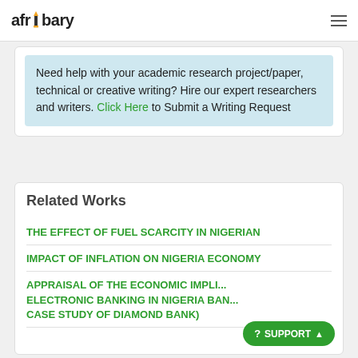afribary
Need help with your academic research project/paper, technical or creative writing? Hire our expert researchers and writers. Click Here to Submit a Writing Request
Related Works
THE EFFECT OF FUEL SCARCITY IN NIGERIAN
IMPACT OF INFLATION ON NIGERIA ECONOMY
APPRAISAL OF THE ECONOMIC IMPLICATIONS OF ELECTRONIC BANKING IN NIGERIA BANKS (A CASE STUDY OF DIAMOND BANK)